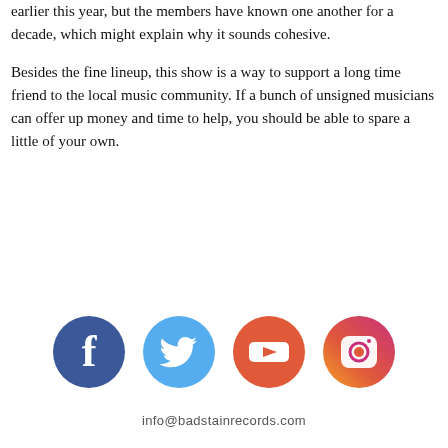... earlier this year, but the members have known one another for a decade, which might explain why it sounds cohesive.
Besides the fine lineup, this show is a way to support a long time friend to the local music community. If a bunch of unsigned musicians can offer up money and time to help, you should be able to spare a little of your own.
[Figure (infographic): Four social media icon circles in a row: Facebook (blue), Twitter (light blue), YouTube (red-orange), Instagram (camera icon with colorful gradient border)]
info@badstainrecords.com